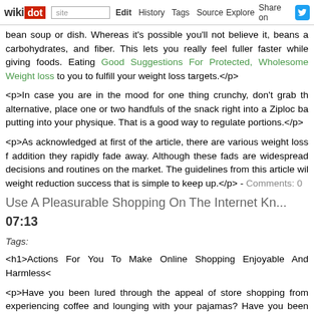wikidot | site | Edit | History | Tags | Source | Explore | Share on [Twitter]
bean soup or dish. Whereas it's possible you'll not believe it, beans are loaded with protein, carbohydrates, and fiber. This lets you really feel fuller faster while giving you the vitamins of foods. Eating Good Suggestions For Protected, Wholesome Weight loss can help to you to fulfill your weight loss targets.</p>
<p>In case you are in the mood for one thing crunchy, don't grab the chips! alternative, place one or two handfuls of the snack right into a Ziploc ba putting into your physique. That is a good way to regulate portions.</p>
<p>As acknowledged at first of the article, there are various weight loss f addition they rapidly fade away. Although these fads are widespread decisions and routines on the market. The guidelines from this article wi weight reduction success that is simple to keep up.</p> - Comments: 0
Use A Pleasurable Shopping On The Internet Kn... 07:13
Tags:
<h1>Actions For You To Make Online Shopping Enjoyable And Harmless<
<p>Have you been lured through the appeal of store shopping from experiencing coffee and lounging with your pajamas? Have you been anxious about the approach? Are you presently doubtful if you're obtainin honest? Properly, you've can come off to the right spot. Keep reading to the internet.</p>
<p>If you are online shopping, you need to only store at reputable stores strong reputation, you might be looking for issues. Some individu...